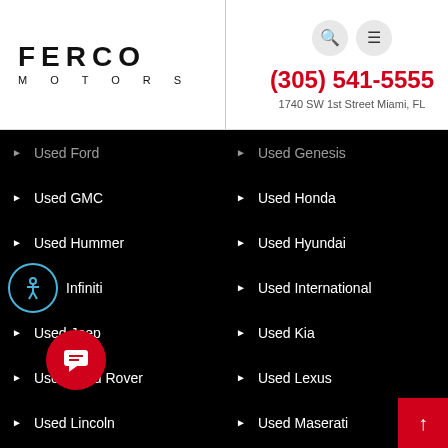[Figure (logo): Ferco Motors logo with bold uppercase FERCO and spaced MOTORS subtitle]
(305) 541-5555
1740 SW 1st Street Miami, FL
Used Ford
Used Genesis
Used GMC
Used Honda
Used Hummer
Used Hyundai
Infiniti
Used International
Used Jeep
Used Kia
Used Land Rover
Used Lexus
Used Lincoln
Used Maserati
Used Mazda
Used Mercedes
Used Nissan
Used Porsche
Used RAM
Used Toyota